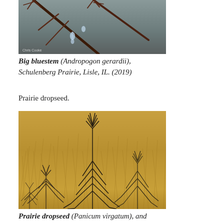[Figure (photo): Close-up photograph of Big bluestem (Andropogon gerardii) grass stems with water droplets/ice, against a gray background. Photo credit: Chris Cooke.]
Big bluestem (Andropogon gerardii), Schulenberg Prairie, Lisle, IL. (2019)
Prairie dropseed.
[Figure (photo): Photograph of Prairie dropseed (Panicum virgatum) plants with dark wispy seedheads against a golden-tan grass background.]
Prairie dropseed (Panicum virgatum), and